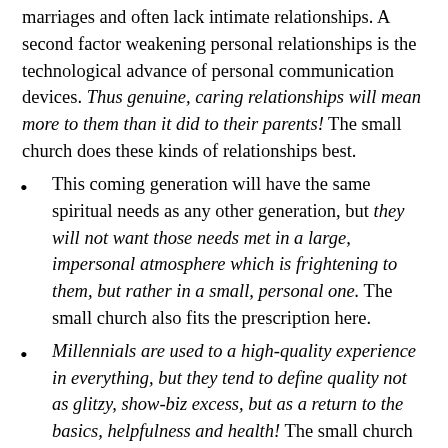marriages and often lack intimate relationships. A second factor weakening personal relationships is the technological advance of personal communication devices. Thus genuine, caring relationships will mean more to them than it did to their parents! The small church does these kinds of relationships best.
This coming generation will have the same spiritual needs as any other generation, but they will not want those needs met in a large, impersonal atmosphere which is frightening to them, but rather in a small, personal one. The small church also fits the prescription here.
Millennials are used to a high-quality experience in everything, but they tend to define quality not as glitzy, show-biz excess, but as a return to the basics, helpfulness and health! The small church can do